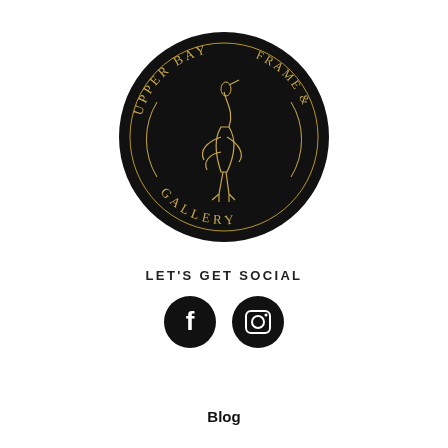[Figure (logo): Circular black logo for Upper Bay Frame & Gallery with a golden heron bird illustration in the center and text arched around the circle reading 'UPPER BAY FRAME & GALLERY']
LET'S GET SOCIAL
[Figure (illustration): Two circular black social media icons side by side: Facebook (f) and Instagram (camera outline)]
Blog